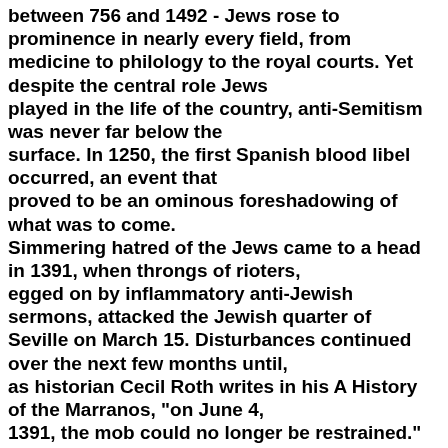between 756 and 1492 - Jews rose to prominence in nearly every field, from medicine to philology to the royal courts. Yet despite the central role Jews played in the life of the country, anti-Semitism was never far below the surface. In 1250, the first Spanish blood libel occurred, an event that proved to be an ominous foreshadowing of what was to come. Simmering hatred of the Jews came to a head in 1391, when throngs of rioters, egged on by inflammatory anti-Jewish sermons, attacked the Jewish quarter of Seville on March 15. Disturbances continued over the next few months until, as historian Cecil Roth writes in his A History of the Marranos, "on June 4, 1391, the mob could no longer be restrained." Jews throughout Spain were murdered, and entire communities were wiped out. Massacres took place in Cordoba and Toledo, and the unrest extended across the country, from the Pyrenees mountains to the Straits of Gibraltar. All tolb according to Roth, between as many as 50,000